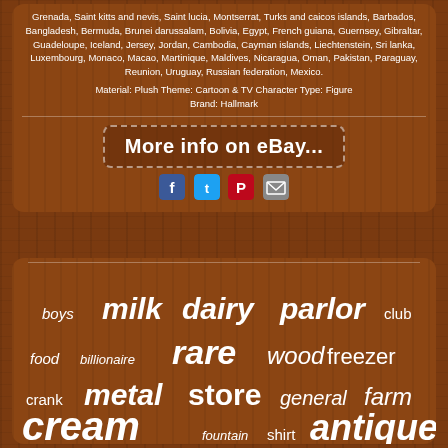Grenada, Saint kitts and nevis, Saint lucia, Montserrat, Turks and caicos islands, Barbados, Bangladesh, Bermuda, Brunei darussalam, Bolivia, Egypt, French guiana, Guernsey, Gibraltar, Guadeloupe, Iceland, Jersey, Jordan, Cambodia, Cayman islands, Liechtenstein, Sri lanka, Luxembourg, Monaco, Macao, Martinique, Maldives, Nicaragua, Oman, Pakistan, Paraguay, Reunion, Uruguay, Russian federation, Mexico.
Material: Plush Theme: Cartoon & TV Character Type: Figure Brand: Hallmark
[Figure (screenshot): eBay link button with dashed border reading 'More info on eBay...']
[Figure (infographic): Social media share icons: Facebook, Twitter, Pinterest, Email]
[Figure (infographic): Word cloud with dairy/ice cream related words: boys, milk, dairy, parlor, club, food, billionaire, rare, wood, freezer, crank, metal, store, general, farm, cream, fountain, shirt, antique]